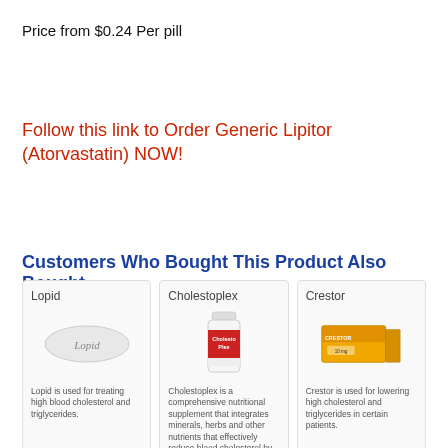Price from $0.24 Per pill
Follow this link to Order Generic Lipitor (Atorvastatin) NOW!
Customers Who Bought This Product Also Bought
[Figure (photo): Lopid pill - oval white tablet with Lopid imprinted]
Lopid
Lopid is used for treating high blood cholesterol and triglycerides.
[Figure (photo): Cholestoplex supplement bottle - red and white label]
Cholestoplex
Cholestoplex is a comprehensive nutritional supplement that integrates minerals, herbs and other nutrients that effectively reduce blood cholesterol by normalizing its metabolism in the liver, and by promoting its elimination from the body.
[Figure (photo): Crestor medication box - yellow and orange packaging]
Crestor
Crestor is used for lowering high cholesterol and triglycerides in certain patients.